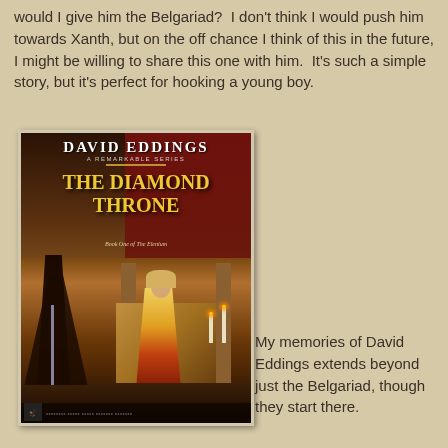would I give him the Belgariad?  I don't think I would push him towards Xanth, but on the off chance I think of this in the future, I might be willing to share this one with him.  It's such a simple story, but it's perfect for hooking a young boy.
[Figure (photo): Book cover of 'The Diamond Throne' by David Eddings, Book One of The Elenium. Dark fantasy cover showing a robed figure on the left and a woman seated on a throne on the right, with candles. Published by Del Rey.]
My memories of David Eddings extends beyond just the Belgariad, though they start there.